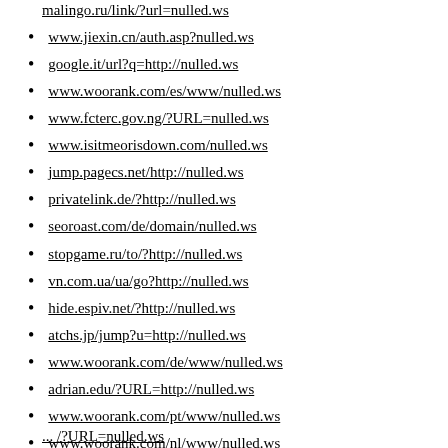malingo.ru/link/?url=nulled.ws (clipped top)
www.jiexin.cn/auth.asp?nulled.ws
google.it/url?q=http://nulled.ws
www.woorank.com/es/www/nulled.ws
www.fcterc.gov.ng/?URL=nulled.ws
www.isitmeorisdown.com/nulled.ws
jump.pagecs.net/http://nulled.ws
privatelink.de/?http://nulled.ws
seoroast.com/de/domain/nulled.ws
stopgame.ru/to/?http://nulled.ws
vn.com.ua/ua/go?http://nulled.ws
hide.espiv.net/?http://nulled.ws
atchs.jp/jump?u=http://nulled.ws
www.woorank.com/de/www/nulled.ws
adrian.edu/?URL=http://nulled.ws
www.woorank.com/pt/www/nulled.ws
www.woorank.com/nl/www/nulled.ws
hannasomatics.com/?URL=nulled.ws
www.woodworker.de/?URL=nulled.ws
... (clipped bottom)